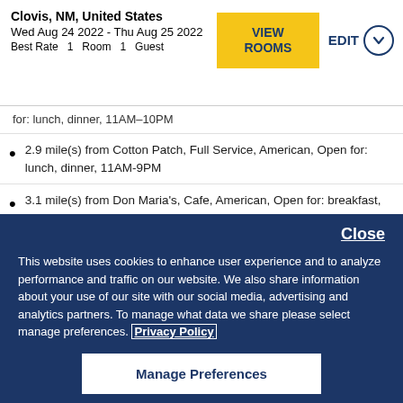Clovis, NM, United States
Wed Aug 24 2022 - Thu Aug 25 2022
Best Rate  1  Room  1  Guest
for: lunch, dinner, 11AM-10PM
2.9 mile(s) from Cotton Patch, Full Service, American, Open for: lunch, dinner, 11AM-9PM
3.1 mile(s) from Don Maria's, Cafe, American, Open for: breakfast, lunch, Thursday 6AM–2PM Friday 6AM–2PM Saturday 6AM–2PM Sunday 7AM–2PM Monday 6AM–2PM Tuesday 6AM–2PM Wednesday 6AM–2PM
Close
This website uses cookies to enhance user experience and to analyze performance and traffic on our website. We also share information about your use of our site with our social media, advertising and analytics partners. To manage what data we share please select manage preferences. Privacy Policy
Manage Preferences